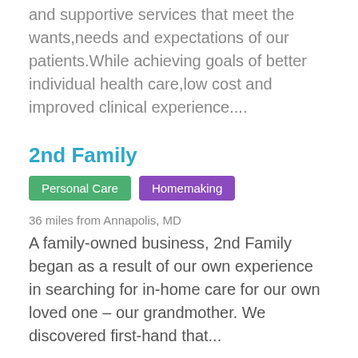and supportive services that meet the wants,needs and expectations of our patients.While achieving goals of better individual health care,low cost and improved clinical experience....
2nd Family
Personal Care   Homemaking
36 miles from Annapolis, MD
A family-owned business, 2nd Family began as a result of our own experience in searching for in-home care for our own loved one – our grandmother. We discovered first-hand that...